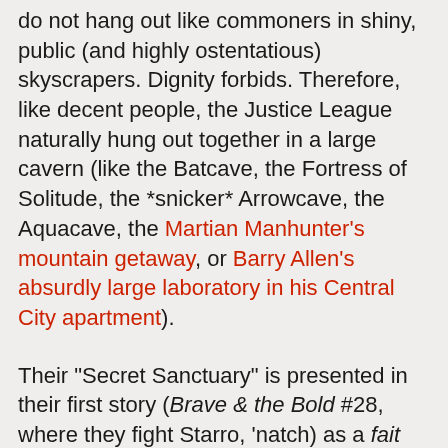do not hang out like commoners in shiny, public (and highly ostentatious) skyscrapers. Dignity forbids. Therefore, like decent people, the Justice League naturally hung out together in a large cavern (like the Batcave, the Fortress of Solitude, the *snicker* Arrowcave, the Aquacave, the Martian Manhunter's mountain getaway, or Barry Allen's absurdly large laboratory in his Central City apartment).
Their "Secret Sanctuary" is presented in their first story (Brave & the Bold #28, where they fight Starro, 'natch) as a fait accompli, no backstory provided. This is the Silver Age, people; information is dispensed to the readers on a need-to-know basis. It was simply a "modernistically outfitted cavern" (circa 1960